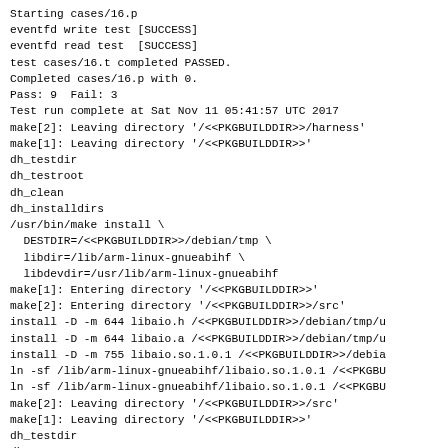Starting cases/16.p
eventfd write test [SUCCESS]
eventfd read test  [SUCCESS]
test cases/16.t completed PASSED.
Completed cases/16.p with 0.
Pass: 9  Fail: 3
Test run complete at Sat Nov 11 05:41:57 UTC 2017
make[2]: Leaving directory '/<<PKGBUILDDIR>>/harness'
make[1]: Leaving directory '/<<PKGBUILDDIR>>'
dh_testdir
dh_testroot
dh_clean
dh_installdirs
/usr/bin/make install \
  DESTDIR=/<<PKGBUILDDIR>>/debian/tmp \
  libdir=/lib/arm-linux-gnueabihf \
  libdevdir=/usr/lib/arm-linux-gnueabihf
make[1]: Entering directory '/<<PKGBUILDDIR>>'
make[2]: Entering directory '/<<PKGBUILDDIR>>/src'
install -D -m 644 libaio.h /<<PKGBUILDDIR>>/debian/tmp/u
install -D -m 644 libaio.a /<<PKGBUILDDIR>>/debian/tmp/u
install -D -m 755 libaio.so.1.0.1 /<<PKGBUILDDIR>>/debia
ln -sf /lib/arm-linux-gnueabihf/libaio.so.1.0.1 /<<PKGBU
ln -sf /lib/arm-linux-gnueabihf/libaio.so.1.0.1 /<<PKGBU
make[2]: Leaving directory '/<<PKGBUILDDIR>>/src'
make[1]: Leaving directory '/<<PKGBUILDDIR>>'
dh_testdir
dh_testroot
dh_install -a
dh_installchangelogs -a Changelog